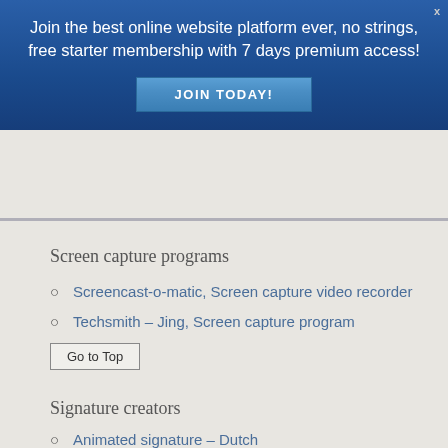Join the best online website platform ever, no strings, free starter membership with 7 days premium access!
JOIN TODAY!
Screen capture programs
Screencast-o-matic, Screen capture video recorder
Techsmith – Jing, Screen capture program
Go to Top
Signature creators
Animated signature – Dutch